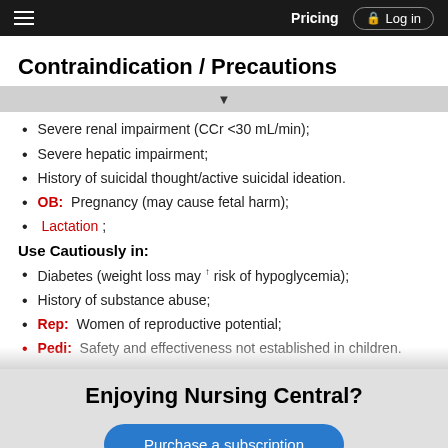Pricing | Log in
Contraindication / Precautions
Severe renal impairment (CCr <30 mL/min);
Severe hepatic impairment;
History of suicidal thought/active suicidal ideation.
OB: Pregnancy (may cause fetal harm);
Lactation ;
Use Cautiously in:
Diabetes (weight loss may ↑ risk of hypoglycemia);
History of substance abuse;
Rep: Women of reproductive potential;
Pedi: Safety and effectiveness not established in children.
Enjoying Nursing Central?
Purchase a subscription
I'm already a subscriber